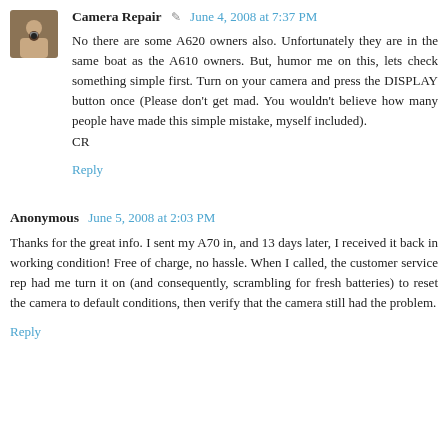Camera Repair · June 4, 2008 at 7:37 PM
No there are some A620 owners also. Unfortunately they are in the same boat as the A610 owners. But, humor me on this, lets check something simple first. Turn on your camera and press the DISPLAY button once (Please don't get mad. You wouldn't believe how many people have made this simple mistake, myself included).
CR
Reply
Anonymous · June 5, 2008 at 2:03 PM
Thanks for the great info. I sent my A70 in, and 13 days later, I received it back in working condition! Free of charge, no hassle. When I called, the customer service rep had me turn it on (and consequently, scrambling for fresh batteries) to reset the camera to default conditions, then verify that the camera still had the problem.
Reply